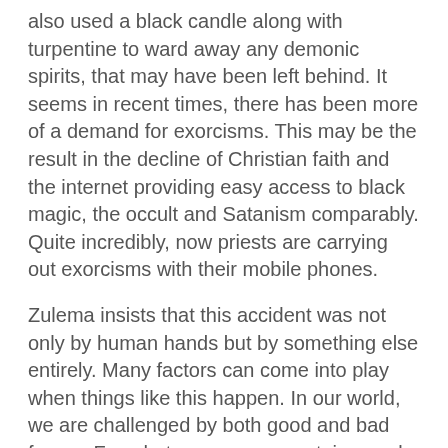also used a black candle along with turpentine to ward away any demonic spirits, that may have been left behind. It seems in recent times, there has been more of a demand for exorcisms. This may be the result in the decline of Christian faith and the internet providing easy access to black magic, the occult and Satanism comparably. Quite incredibly, now priests are carrying out exorcisms with their mobile phones.
Zulema insists that this accident was not only by human hands but by something else entirely. Many factors can come into play when things like this happen. In our world, we are challenged by both good and bad forces. For whatever reason, certain people attract one or the other. Each decision that we make in our lives, will have a direct effect on not only ourselves but others around us. We must be diligent in what we do each day and be responsible for our actions.